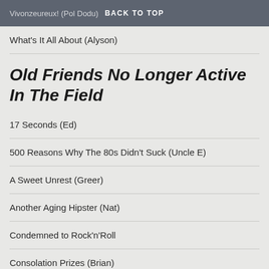Vivonzeureux! (Pol Dodu) BACK TO TOP
What's It All About (Alyson)
Old Friends No Longer Active In The Field
17 Seconds (Ed)
500 Reasons Why The 80s Didn't Suck (Uncle E)
A Sweet Unrest (Greer)
Another Aging Hipster (Nat)
Condemned to Rock'n'Roll
Consolation Prizes (Brian)
Conventional Records (Andrea)
Dead Billy's Steaming Pile Of Vinyl (Dead Billy)
Dusty 7s (ally)